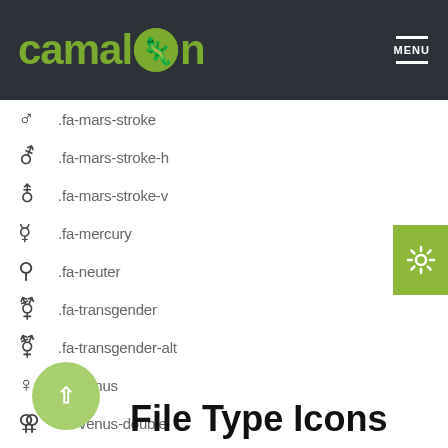camaleon MENU
♂ .fa-mars-stroke
⚦ .fa-mars-stroke-h
⚨ .fa-mars-stroke-v
☿ .fa-mercury
⚲ .fa-neuter
⚧ .fa-transgender
⚧ .fa-transgender-alt
♀ .fa-venus
⚢ .fa-venus-double
⚣ .fa-venus-mars
File Type Icons